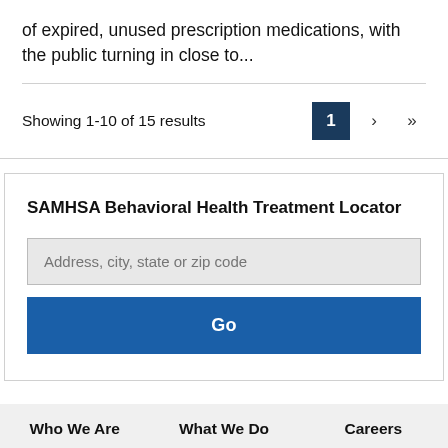of expired, unused prescription medications, with the public turning in close to...
Showing 1-10 of 15 results
SAMHSA Behavioral Health Treatment Locator
Address, city, state or zip code
Go
Who We Are   What We Do   Careers